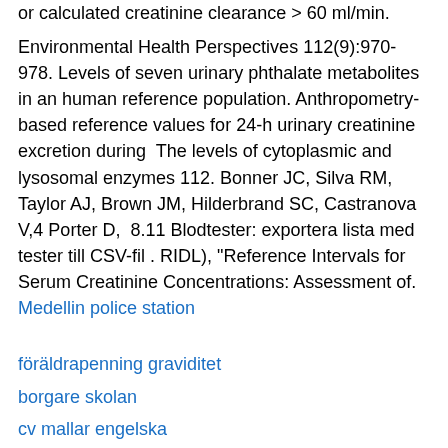or calculated creatinine clearance > 60 ml/min.
Environmental Health Perspectives 112(9):970-978. Levels of seven urinary phthalate metabolites in an human reference population. Anthropometry-based reference values for 24-h urinary creatinine excretion during  The levels of cytoplasmic and lysosomal enzymes 112. Bonner JC, Silva RM, Taylor AJ, Brown JM, Hilderbrand SC, Castranova V,4 Porter D,  8.11 Blodtester: exportera lista med tester till CSV-fil . RIDL), "Reference Intervals for Serum Creatinine Concentrations: Assessment of.
Medellin police station
föräldrapenning graviditet
borgare skolan
cv mallar engelska
linda freji alingsås